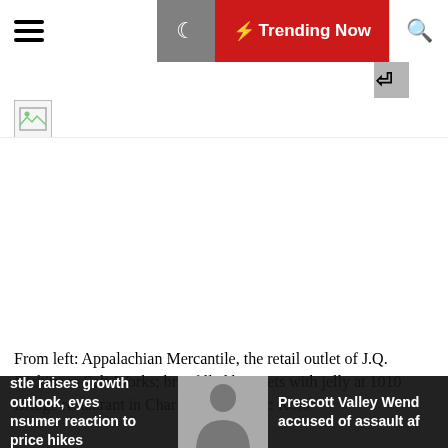wire basket with a side of jelly | Trending Now
[Figure (photo): Broken image placeholder icon]
[Figure (photo): Large photo area (failed to load) — white space]
From left: Appalachian Mercantile, the retail outlet of J.Q. Dickinson Salt-Works; brie-filled beignets with jelly at 1010 Bridge restaurant in Charleston. | Credit: Ross
stle raises growth outlook, eyes nsumer reaction to price hikes
Prescott Valley Wend accused of assault af